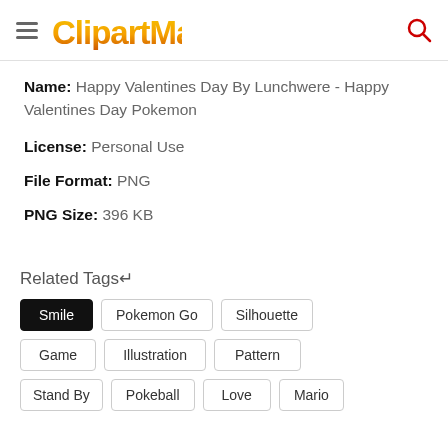CLIPARTMAX
Name: Happy Valentines Day By Lunchwere - Happy Valentines Day Pokemon
License: Personal Use
File Format: PNG
PNG Size: 396 KB
Related Tags↵
Smile
Pokemon Go
Silhouette
Game
Illustration
Pattern
Stand By
Pokeball
Love
Mario